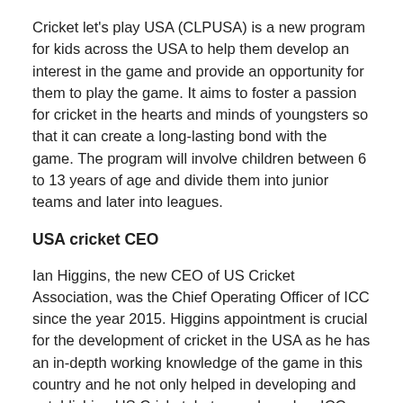Cricket let's play USA (CLPUSA) is a new program for kids across the USA to help them develop an interest in the game and provide an opportunity for them to play the game. It aims to foster a passion for cricket in the hearts and minds of youngsters so that it can create a long-lasting bond with the game. The program will involve children between 6 to 13 years of age and divide them into junior teams and later into leagues.
USA cricket CEO
Ian Higgins, the new CEO of US Cricket Association, was the Chief Operating Officer of ICC since the year 2015. Higgins appointment is crucial for the development of cricket in the USA as he has an in-depth working knowledge of the game in this country and he not only helped in developing and establishing US Cricket, but was also a key ICC member who handled governance matters in the ICC. His years of experience is going to benefit US cricket immensely.